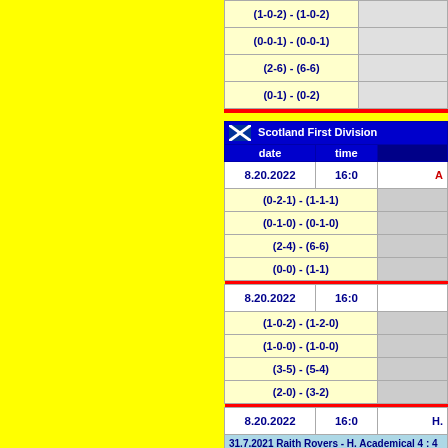| score/stats | extra |
| --- | --- |
| (1-0-2) - (1-0-2) |  |
| (0-0-1) - (0-0-1) |  |
| (2-6) - (6-6) |  |
| (0-1) - (0-2) |  |
| flag | Scotland First Division |  |
| --- | --- | --- |
| date | time |  |
| 8.20.2022 | 16:0 | A... |
| (0-2-1) - (1-1-1) |  |  |
| (0-1-0) - (0-1-0) |  |  |
| (2-4) - (6-6) |  |  |
| (0-0) - (1-1) |  |  |
| 8.20.2022 | 16:0 |  |
| (1-0-2) - (1-2-0) |  |  |
| (1-0-0) - (1-0-0) |  |  |
| (3-5) - (5-4) |  |  |
| (2-0) - (3-2) |  |  |
| 8.20.2022 | 16:0 | H.... |
| 31.7.2021 Raith Rovers - H. Academical 4 : 4
13.11.2021 H. Academical - Raith Rovers 0 : 3
5.2.2022 Raith Rovers - H. Academical 0 : 0
23.4.2022 H. Academical - Raith Rovers 0 : 2 |  |  |
| (0-3-0) - (1-0-2) |  |  |